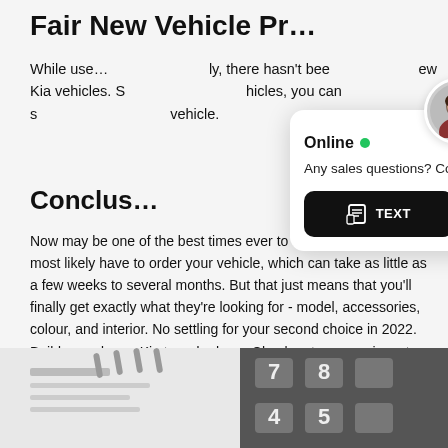Fair New Vehicle Pr…
While use…ly, there hasn't bee…ew Kia vehicles. S…hicles, you can s… vehicle.
[Figure (screenshot): Chat widget overlay with avatar photo, 'Online' status with green dot, message 'Any sales questions? Connect with us now!', and two buttons: TEXT and CHAT]
Conclus…
Now may be one of the best times ever to buy a new car. You'll most likely have to order your vehicle, which can take as little as a few weeks to several months. But that just means that you'll finally get exactly what they're looking for - model, accessories, colour, and interior. No settling for your second choice in 2022. Build your dream Kia to order here. Check out our new inventory here.
[Figure (photo): Close-up photo of a calculator and a document/checkbook at the bottom of the page]